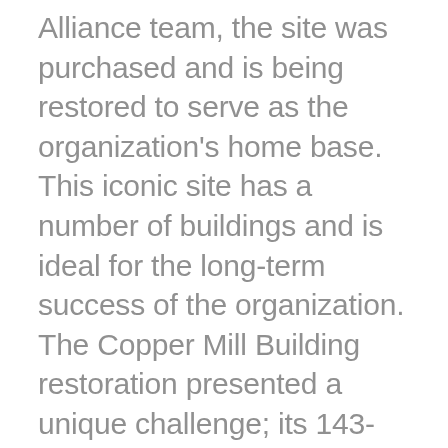Alliance team, the site was purchased and is being restored to serve as the organization's home base. This iconic site has a number of buildings and is ideal for the long-term success of the organization. The Copper Mill Building restoration presented a unique challenge; its 143-year-old concrete floors were in desperate need of new life. The team at Ocean Alliance discovered the services of Reliance Concrete Polishing would be a perfect solution. We enthusiastically embraced the project and enlisted the help of willing partners to not only revitalize